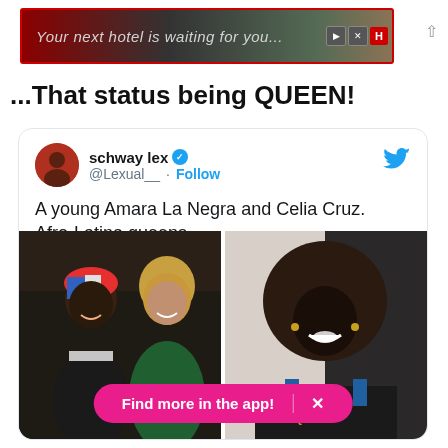[Figure (screenshot): Advertisement banner: 'Your next hotel is waiting for you' with red border, dark background, play and close buttons, H badge]
...That status being QUEEN!
[Figure (screenshot): Embedded tweet from @Lexual__ (schway lex, verified) with Twitter logo, saying 'A young Amara La Negra and Celia Cruz. Afro-Latina queens', with two photos side by side of the subjects, and a pink 'Find more in the app!' button overlay at the bottom]